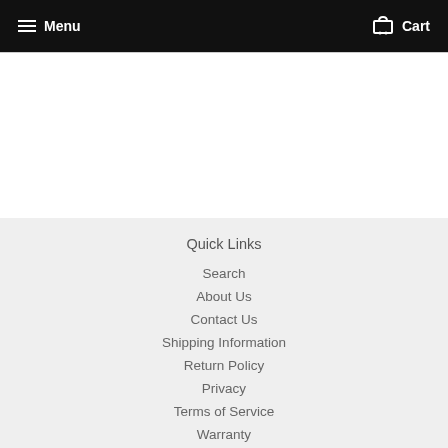Menu  Cart
Quick Links
Search
About Us
Contact Us
Shipping Information
Return Policy
Privacy
Terms of Service
Warranty